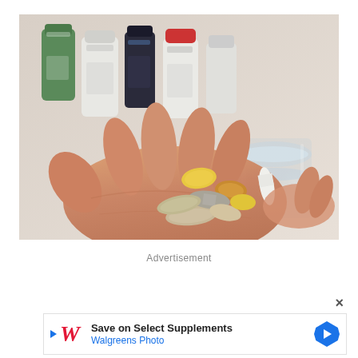[Figure (photo): A person's open hand holding multiple dietary supplement capsules and tablets of various colors (white, yellow, beige, brown) with supplement bottles in the blurred background and a glass of water held in the other hand.]
Advertisement
×
Save on Select Supplements
Walgreens Photo